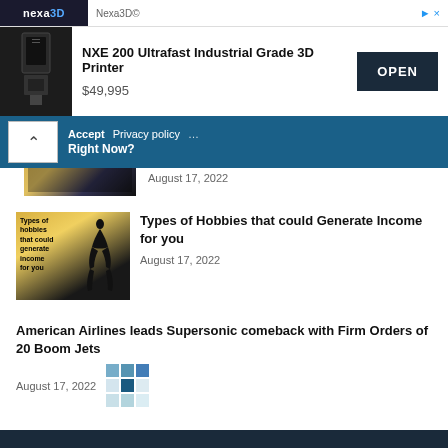[Figure (screenshot): Nexa3D advertisement banner showing NXE 200 Ultrafast Industrial Grade 3D Printer for $49,995 with an OPEN button]
Right Now?
August 17, 2022
[Figure (photo): Thumbnail image for hobbies article showing person bending with text overlay]
Types of Hobbies that could Generate Income for you
August 17, 2022
American Airlines leads Supersonic comeback with Firm Orders of 20 Boom Jets
August 17, 2022